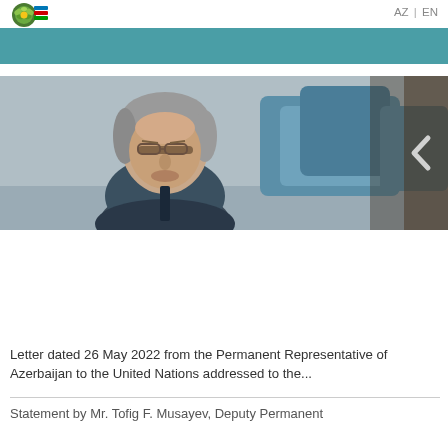[Figure (logo): Azerbaijan Embassy or Ministry logo - colorful emblem top left]
AZ | EN
[Figure (photo): A man with gray hair and glasses looking down, seated at what appears to be a United Nations meeting room with blue chairs in the background]
Letter dated 26 May 2022 from the Permanent Representative of Azerbaijan to the United Nations addressed to the...
Statement by Mr. Tofig F. Musayev, Deputy Permanent